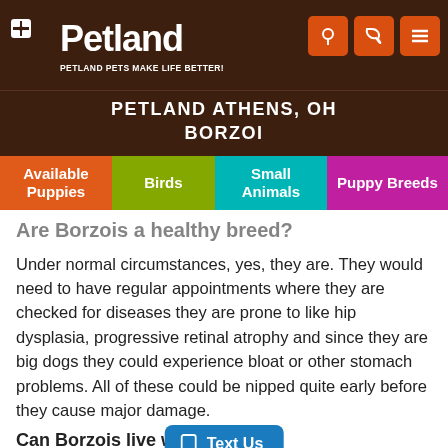Petland — PETLAND PETS MAKE LIFE BETTER!
PETLAND ATHENS, OH
BORZOI
Are Borzois a healthy breed?
Under normal circumstances, yes, they are. They would need to have regular appointments where they are checked for diseases they are prone to like hip dysplasia, progressive retinal atrophy and since they are big dogs they could experience bloat or other stomach problems. All of these could be nipped quite early before they cause major damage.
Can Borzois live with cats?
Text Us — Need Help?